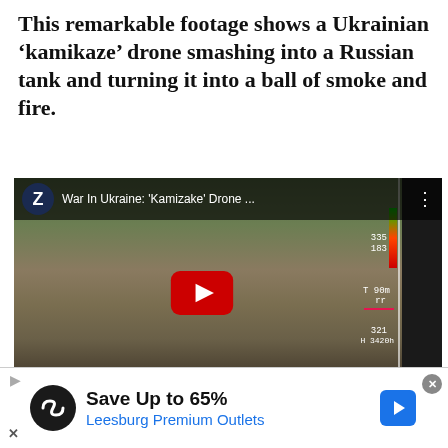This remarkable footage shows a Ukrainian ‘kamikaze’ drone smashing into a Russian tank and turning it into a ball of smoke and fire.
[Figure (screenshot): YouTube video thumbnail/embed showing drone footage titled 'War In Ukraine: ‘Kamizake’ Drone ...' with Zenger News branding. Shows aerial drone HUD view of terrain with a red YouTube play button overlay.]
Zenger News obtained the video from...
[Figure (infographic): Advertisement banner: Save Up to 65% Leesburg Premium Outlets, with a black circular logo with infinity/loop symbol, a blue navigation arrow icon, a play/skip control, and a close X button.]